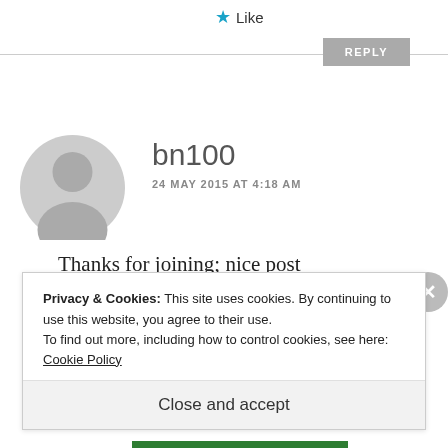★ Like
REPLY
[Figure (illustration): Gray circular avatar with person silhouette for user bn100]
bn100
24 MAY 2015 AT 4:18 AM
Thanks for joining; nice post
bn100candg at hotmail dot com
Privacy & Cookies: This site uses cookies. By continuing to use this website, you agree to their use.
To find out more, including how to control cookies, see here: Cookie Policy
Close and accept